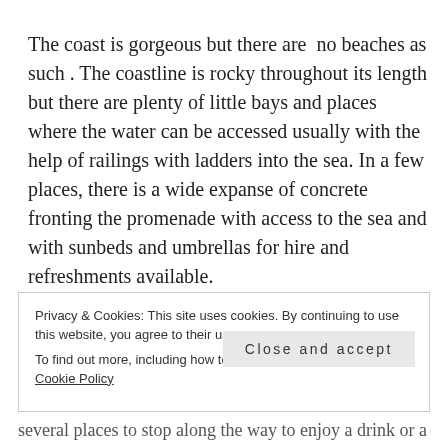The coast is gorgeous but there are  no beaches as such . The coastline is rocky throughout its length but there are plenty of little bays and places where the water can be accessed usually with the help of railings with ladders into the sea. In a few places, there is a wide expanse of concrete fronting the promenade with access to the sea and with sunbeds and umbrellas for hire and refreshments available.
Privacy & Cookies: This site uses cookies. By continuing to use this website, you agree to their use.
To find out more, including how to control cookies, see here: Cookie Policy
Close and accept
several places to stop along the way to enjoy a drink or a